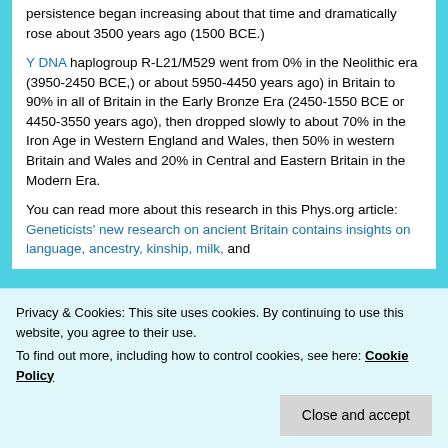persistence began increasing about that time and dramatically rose about 3500 years ago (1500 BCE.)
Y DNA haplogroup R-L21/M529 went from 0% in the Neolithic era (3950-2450 BCE,) or about 5950-4450 years ago) in Britain to 90% in all of Britain in the Early Bronze Era (2450-1550 BCE or 4450-3550 years ago), then dropped slowly to about 70% in the Iron Age in Western England and Wales, then 50% in western Britain and Wales and 20% in Central and Eastern Britain in the Modern Era.
You can read more about this research in this Phys.org article: Geneticists' new research on ancient Britain contains insights on language, ancestry, kinship, milk, and
Privacy & Cookies: This site uses cookies. By continuing to use this website, you agree to their use.
To find out more, including how to control cookies, see here: Cookie Policy